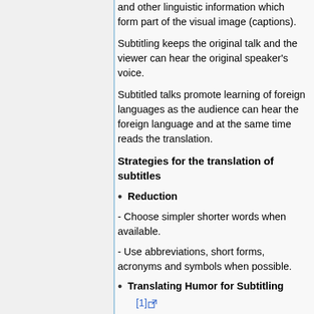and other linguistic information which form part of the visual image (captions).
Subtitling keeps the original talk and the viewer can hear the original speaker's voice.
Subtitled talks promote learning of foreign languages as the audience can hear the foreign language and at the same time reads the translation.
Strategies for the translation of subtitles
Reduction
- Choose simpler shorter words when available.
- Use abbreviations, short forms, acronyms and symbols when possible.
Translating Humor for Subtitling [1]